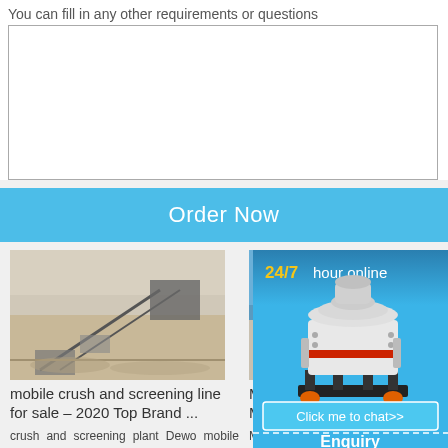You can fill in any other requirements or questions
[textarea input box]
Order Now
[Figure (photo): Aerial view of mobile crush and screening plant equipment outdoors in sandy/dusty terrain]
mobile crush and screening line for sale – 2020 Top Brand ...
crush and screening plant Dewo mobile crusher plant hot sale, crush and screening plant
[Figure (photo): Mobile crusher machine at a mining/quarry site with blue sky background]
Mobile C... Mobile C...
Mobile cru... feeding ... Capacity: ... Product s...
[Figure (infographic): Chat widget showing 24/7 hour online support with image of industrial crusher machine, Click me to chat>> button, Enquiry section, and limingjlmofen branding]